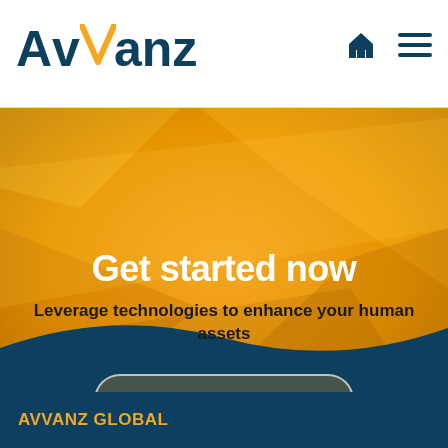Avvanz
[Figure (illustration): Orange and dark teal geometric hero banner with diagonal polygonal shapes and a wave cutout at the bottom]
Get started now
Leverage technologies to enhance your human assets
REQUEST DEMO
AVVANZ GLOBAL